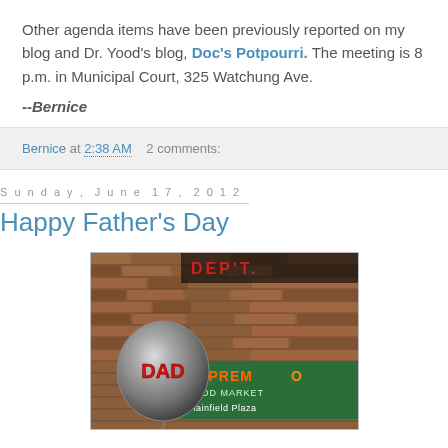Other agenda items have been previously reported on my blog and Dr. Yood's blog, Doc's Potpourri. The meeting is 8 p.m. in Municipal Court, 325 Watchung Ave.
--Bernice
Bernice at 2:38 AM   2 comments:
Sunday, June 17, 2012
Happy Father's Day
[Figure (photo): Photo of a reflective 'DAD' balloon in front of a store with green Supreme Food Market sign and brick wall background at Plainfield Plaza]